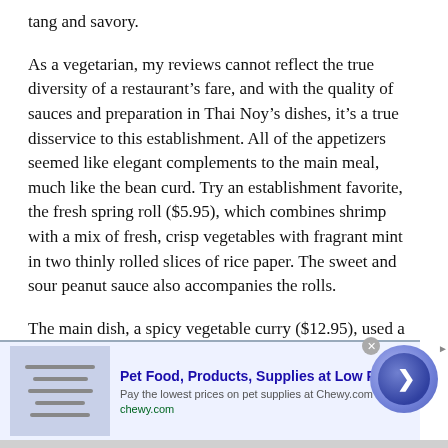tang and savory.
As a vegetarian, my reviews cannot reflect the true diversity of a restaurant’s fare, and with the quality of sauces and preparation in Thai Noy’s dishes, it’s a true disservice to this establishment. All of the appetizers seemed like elegant complements to the main meal, much like the bean curd. Try an establishment favorite, the fresh spring roll ($5.95), which combines shrimp with a mix of fresh, crisp vegetables with fragrant mint in two thinly rolled slices of rice paper. The sweet and sour peanut sauce also accompanies the rolls.
The main dish, a spicy vegetable curry ($12.95), used a delightfully balanced and distinctly peanut-flavored red curry
[Figure (screenshot): Infolinks ad bar and Chewy.com banner advertisement with circular play button]